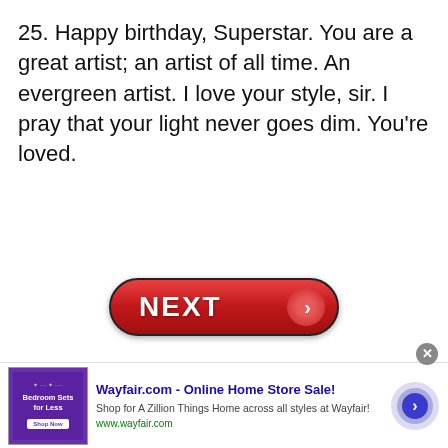25. Happy birthday, Superstar. You are a great artist; an artist of all time. An evergreen artist. I love your style, sir. I pray that your light never goes dim. You're loved.
[Figure (other): A red pill-shaped NEXT button with white bold text and a right-pointing chevron arrow on a circular button on the right side]
[Figure (other): Advertisement banner for Wayfair.com - Online Home Store Sale! with thumbnail image of bedroom furniture, title, description, URL, and a circular arrow button]